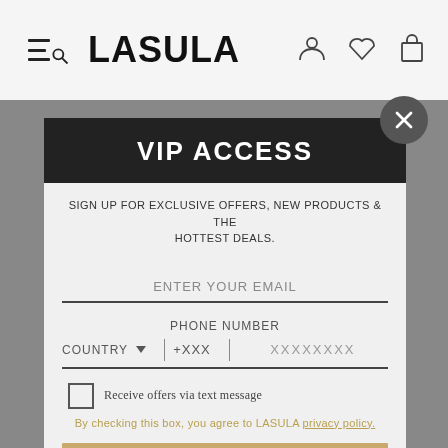LASULA
VIP ACCESS
SIGN UP FOR EXCLUSIVE OFFERS, NEW PRODUCTS & THE HOTTEST DEALS.
ENTER YOUR EMAIL
PHONE NUMBER
COUNTRY  +XXX  XXXXXXXX
Receive offers via text message
By checking this box, you agree to LASULA privacy policy.
SUBSCRIBE